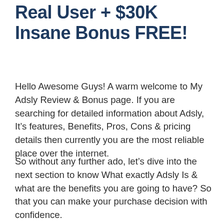Real User + $30K Insane Bonus FREE!
Hello Awesome Guys! A warm welcome to My Adsly Review & Bonus page. If you are searching for detailed information about Adsly, It’s features, Benefits, Pros, Cons & pricing details then currently you are the most reliable place over the internet.
So without any further ado, let’s dive into the next section to know What exactly Adsly Is & what are the benefits you are going to have? So that you can make your purchase decision with confidence.